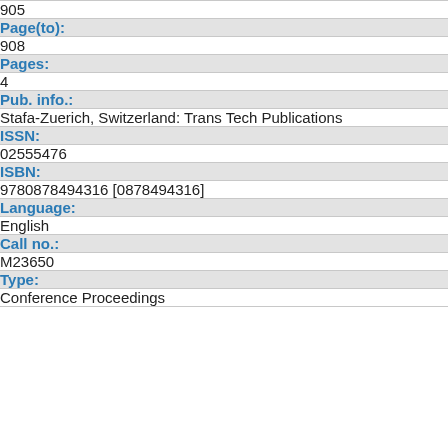905
Page(to):
908
Pages:
4
Pub. info.:
Stafa-Zuerich, Switzerland: Trans Tech Publications
ISSN:
02555476
ISBN:
9780878494316 [0878494316]
Language:
English
Call no.:
M23650
Type:
Conference Proceedings